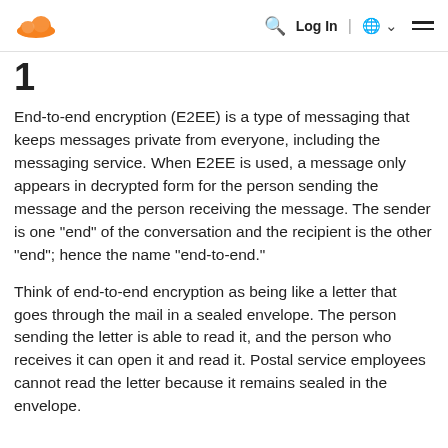Cloudflare logo | Search | Log In | Globe | Menu
1
End-to-end encryption (E2EE) is a type of messaging that keeps messages private from everyone, including the messaging service. When E2EE is used, a message only appears in decrypted form for the person sending the message and the person receiving the message. The sender is one "end" of the conversation and the recipient is the other "end"; hence the name "end-to-end."
Think of end-to-end encryption as being like a letter that goes through the mail in a sealed envelope. The person sending the letter is able to read it, and the person who receives it can open it and read it. Postal service employees cannot read the letter because it remains sealed in the envelope.